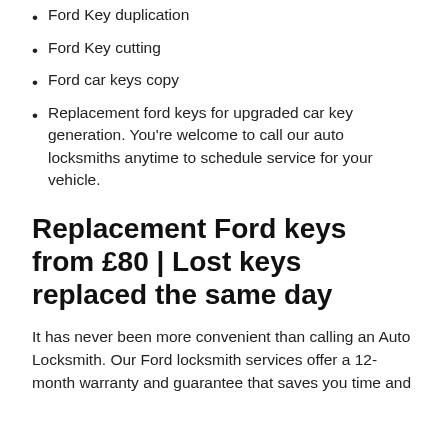Ford Key duplication
Ford Key cutting
Ford car keys copy
Replacement ford keys for upgraded car key generation. You're welcome to call our auto locksmiths anytime to schedule service for your vehicle.
Replacement Ford keys from £80 | Lost keys replaced the same day
It has never been more convenient than calling an Auto Locksmith. Our Ford locksmith services offer a 12-month warranty and guarantee that saves you time and